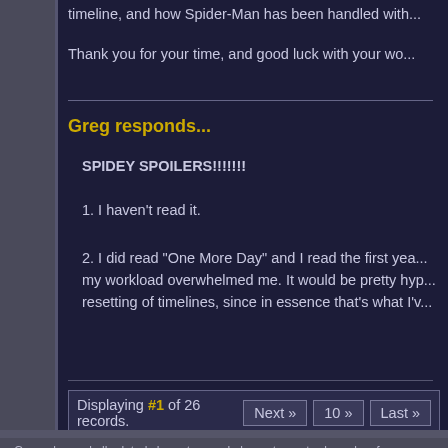timeline, and how Spider-Man has been handled with...
Thank you for your time, and good luck with your wo...
Greg responds...
SPIDEY SPOILERS!!!!!!!
1. I haven't read it.
2. I did read "One More Day" and I read the first year... my workload overwhelmed me. It would be pretty hyp... resetting of timelines, since in essence that's what I'v...
Displaying #1 of 26 records.    Next »    10 »    Last »
Gargoyles and all related characters and elements are trademarks of an... Walt Disney Company. This web site is in no way affiliated with Buena V... views expressed within this web site do not reflect those of The Walt Dis... copyright infringement is intended.